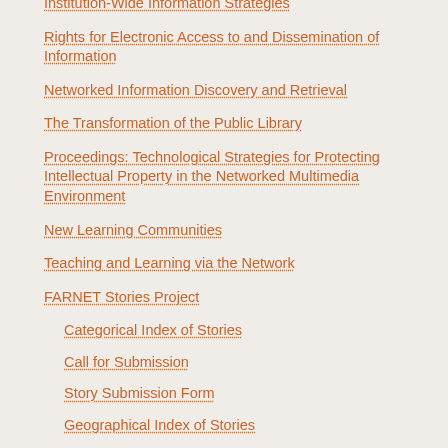Institution-Wide Information Strategies
Rights for Electronic Access to and Dissemination of Information
Networked Information Discovery and Retrieval
The Transformation of the Public Library
Proceedings: Technological Strategies for Protecting Intellectual Property in the Networked Multimedia Environment
New Learning Communities
Teaching and Learning via the Network
FARNET Stories Project
Categorical Index of Stories
Call for Submission
Story Submission Form
Geographical Index of Stories